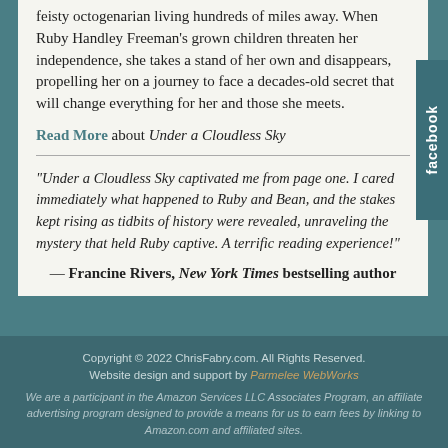feisty octogenarian living hundreds of miles away. When Ruby Handley Freeman's grown children threaten her independence, she takes a stand of her own and disappears, propelling her on a journey to face a decades-old secret that will change everything for her and those she meets.
Read More about Under a Cloudless Sky
"Under a Cloudless Sky captivated me from page one. I cared immediately what happened to Ruby and Bean, and the stakes kept rising as tidbits of history were revealed, unraveling the mystery that held Ruby captive. A terrific reading experience!"
— Francine Rivers, New York Times bestselling author
Copyright © 2022 ChrisFabry.com. All Rights Reserved. Website design and support by Parmelee WebWorks

We are a participant in the Amazon Services LLC Associates Program, an affiliate advertising program designed to provide a means for us to earn fees by linking to Amazon.com and affiliated sites.